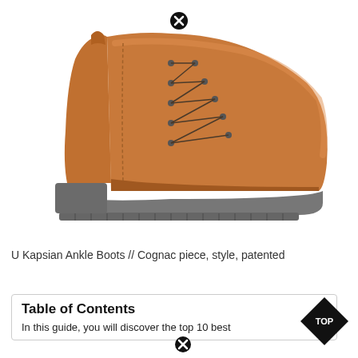[Figure (photo): A tan/cognac leather lace-up ankle boot (U Kapsian style) with chunky gray rubber sole, shown in profile on a white background. A black circle-X close button appears above the boot.]
U Kapsian Ankle Boots // Cognac piece, style, patented
Table of Contents
In this guide, you will discover the top 10 best